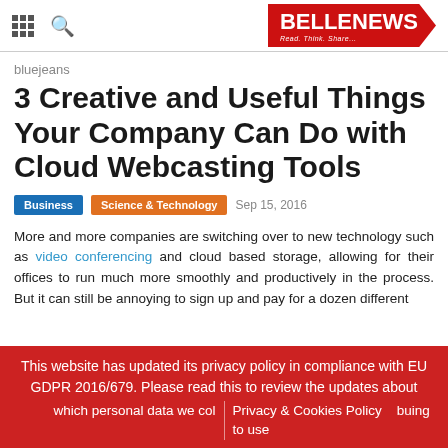BELLENEWS Read. Think. Share...
bluejeans
3 Creative and Useful Things Your Company Can Do with Cloud Webcasting Tools
Business  Science & Technology  Sep 15, 2016
More and more companies are switching over to new technology such as video conferencing and cloud based storage, allowing for their offices to run much more smoothly and productively in the process. But it can still be annoying to sign up and pay for a dozen different
This website has updated its privacy policy in compliance with EU GDPR 2016/679. Please read this to review the updates about which personal data we col...  Privacy & Cookies Policy  ...buing to use